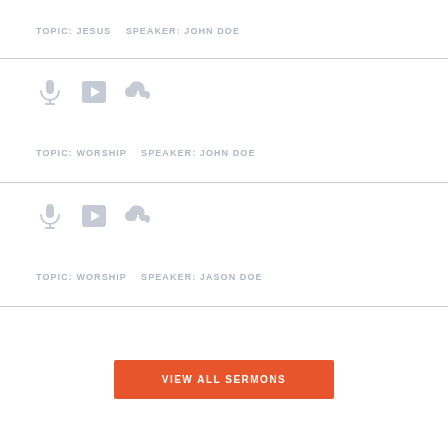TOPIC: JESUS    SPEAKER: JOHN DOE
[Figure (illustration): Three icons: microphone, play button, cloud download — in light gray]
TOPIC: WORSHIP    SPEAKER: JOHN DOE
[Figure (illustration): Three icons: microphone, play button, cloud download — in light gray]
TOPIC: WORSHIP    SPEAKER: JASON DOE
VIEW ALL SERMONS